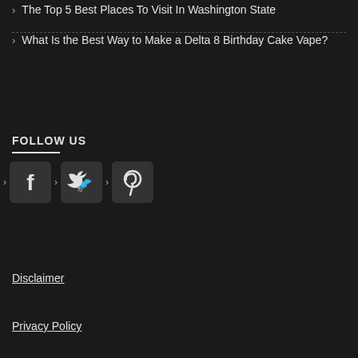The Top 5 Best Places To Visit In Washington State
What Is the Best Way to Make a Delta 8 Birthday Cake Vape?
FOLLOW US
[Figure (illustration): Three social media icons: Facebook, Twitter, Pinterest]
Disclaimer
Privacy Policy